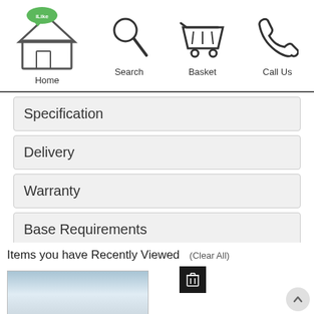iLike Sheds — Home, Search, Basket, Call Us navigation bar
Specification
Delivery
Warranty
Base Requirements
Reviews
Items you have Recently Viewed
(Clear All)